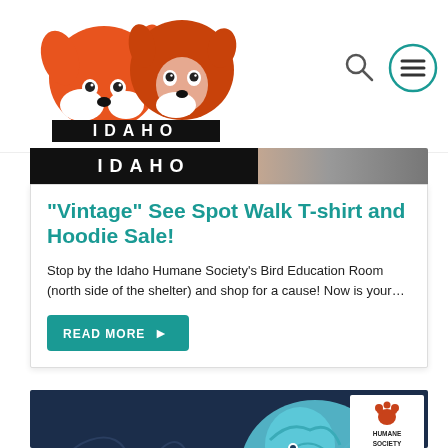[Figure (logo): Idaho Humane Society logo with two illustrated dogs (orange/white dog faces), with 'IDAHO' text in black block letters below]
[Figure (illustration): Search icon (magnifying glass outline)]
[Figure (illustration): Hamburger menu icon (three horizontal lines in a teal circle)]
IDAHO
“Vintage” See Spot Walk T-shirt and Hoodie Sale!
Stop by the Idaho Humane Society’s Bird Education Room (north side of the shelter) and shop for a cause! Now is your…
[Figure (illustration): READ MORE button with arrow]
[Figure (illustration): 30th Annual See Spot Walk promotional illustration showing cartoon dogs (large blue fluffy dog, golden labrador, small white dog, corgi, bulldog puppy) on a dark navy background with Idaho Humane Society logo in top right corner and 30th Annual badge in green circle]